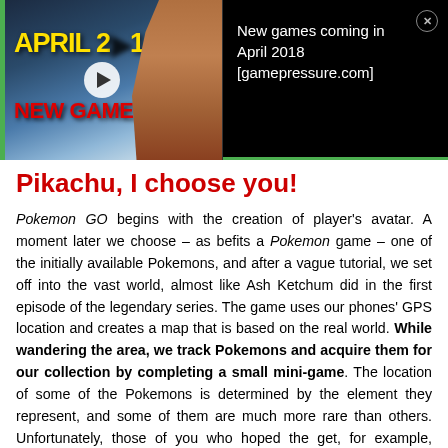[Figure (screenshot): Video ad thumbnail showing 'APRIL 2018 NEW GAMES' text overlay on a dark gaming background with a warrior character (Kratos from God of War), with a play button in the center. Green border on left and bottom.]
New games coming in April 2018 [gamepressure.com]
Pikachu, I choose you!
Pokemon GO begins with the creation of player's avatar. A moment later we choose – as befits a Pokemon game – one of the initially available Pokemons, and after a vague tutorial, we set off into the vast world, almost like Ash Ketchum did in the first episode of the legendary series. The game uses our phones' GPS location and creates a map that is based on the real world. While wandering the area, we track Pokemons and acquire them for our collection by completing a small mini-game. The location of some of the Pokemons is determined by the element they represent, and some of them are much more rare than others. Unfortunately, those of you who hoped the get, for example, Pikachu, or other childhood favorites, will have to